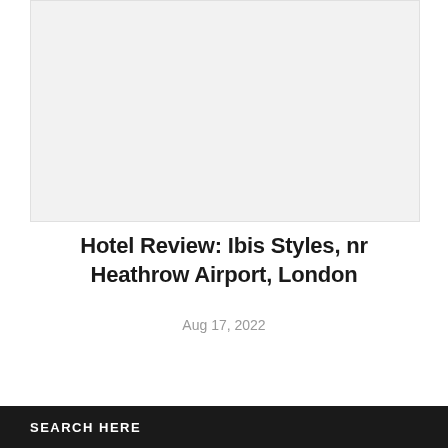[Figure (photo): Light gray placeholder image area representing a hotel or travel photo]
Hotel Review: Ibis Styles, nr Heathrow Airport, London
Aug 17, 2022
SEARCH HERE